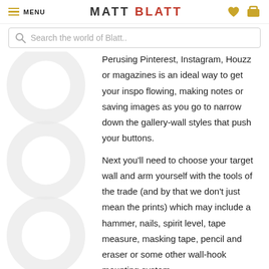MENU | MATT BLATT
Search the world of Blatt..
Perusing Pinterest, Instagram, Houzz or magazines is an ideal way to get your inspo flowing, making notes or saving images as you go to narrow down the gallery-wall styles that push your buttons.
Next you'll need to choose your target wall and arm yourself with the tools of the trade (and by that we don't just mean the prints) which may include a hammer, nails, spirit level, tape measure, masking tape, pencil and eraser or some other wall-hook mounting system.
Idea # 1: Bold & bright
[Figure (photo): Four thumbnail product images showing colorful artwork prints]